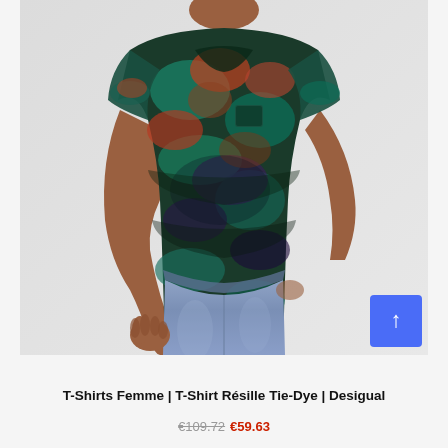[Figure (photo): A woman wearing a tie-dye mesh short-sleeve top in teal, orange, and purple hues, paired with light blue jeans. The background is light grey. A blue scroll-to-top arrow button is visible in the lower right corner of the image.]
T-Shirts Femme | T-Shirt Résille Tie-Dye | Desigual
€109.72 €59.63